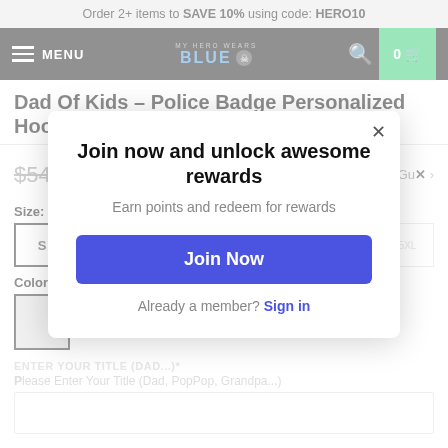Order 2+ items to SAVE 10% using code: HERO10
[Figure (screenshot): Navigation bar with hamburger menu, My Hero Wears Blue logo, search icon, and cart button showing 0 items]
Dad Of Kids – Police Badge Personalized Hoodie
$54.99 $41.99 Size Guide
Size:
S M L XL 2XL 3XL 4XL 5XL
Color:
ENTER YOUR TITLE (DAD...)*
Please Enter Your Title (Dad, PopPop, Grandpa...)
[Figure (screenshot): Popup overlay: Join now and unlock awesome rewards. Earn points and redeem for rewards. Join Now button. Already a member? Sign in link.]